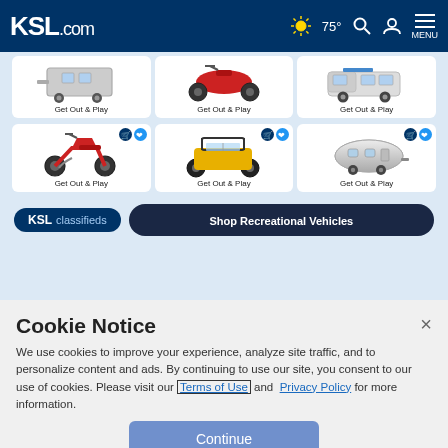[Figure (screenshot): KSL.com navigation bar with logo, weather (sunny, 75°), search, user, and menu icons on dark blue background]
[Figure (screenshot): KSL Classifieds banner showing 6 recreational vehicle cards (trailer, ATV, van, motorcycle, UTV, camper) each labeled 'Get Out & Play', with cart and heart icons, and a 'Shop Recreational Vehicles' button]
Cookie Notice
We use cookies to improve your experience, analyze site traffic, and to personalize content and ads. By continuing to use our site, you consent to our use of cookies. Please visit our Terms of Use and Privacy Policy for more information.
Continue